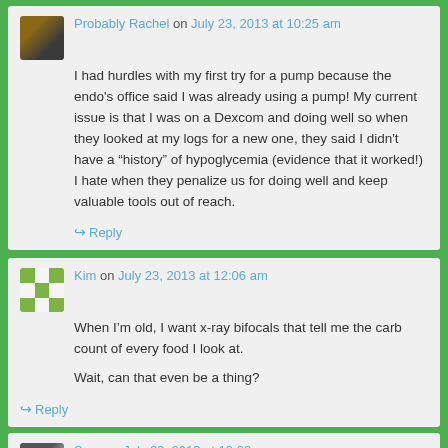Probably Rachel on July 23, 2013 at 10:25 am
I had hurdles with my first try for a pump because the endo's office said I was already using a pump! My current issue is that I was on a Dexcom and doing well so when they looked at my logs for a new one, they said I didn't have a “history” of hypoglycemia (evidence that it worked!) I hate when they penalize us for doing well and keep valuable tools out of reach.
Reply
Kim on July 23, 2013 at 12:06 am
When I’m old, I want x-ray bifocals that tell me the carb count of every food I look at.
Wait, can that even be a thing?
Reply
Sara on July 23, 2013 at 12:09 am